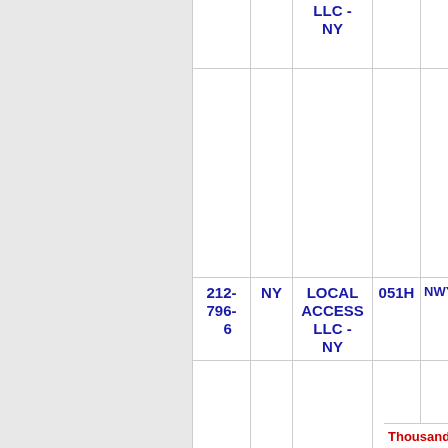| Number | State | Provider | Code | Carrier |
| --- | --- | --- | --- | --- |
|  |  | LLC - NY |  |  |
| 212-796-6 | NY | LOCAL ACCESS LLC - NY | 051H | NWYRCYZN |
Thousands block for 212-913